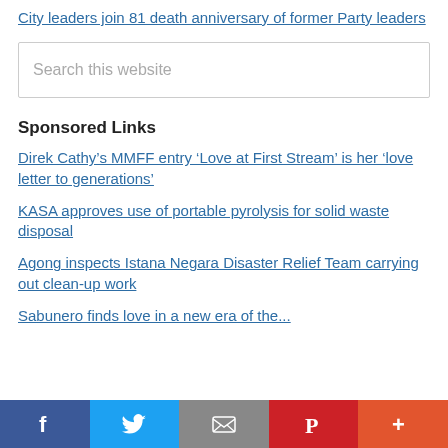City leaders join 81 death anniversary of former Party leaders
Search this website
Sponsored Links
Direk Cathy’s MMFF entry ‘Love at First Stream’ is her ‘love letter to generations’
KASA approves use of portable pyrolysis for solid waste disposal
Agong inspects Istana Negara Disaster Relief Team carrying out clean-up work
Sabunero finds love in a new era of the...
Facebook Twitter Email Pinterest More